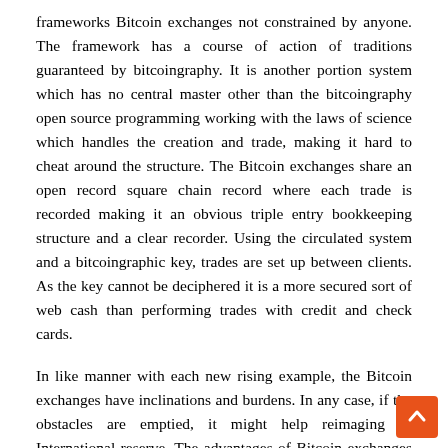frameworks Bitcoin exchanges not constrained by anyone. The framework has a course of action of traditions guaranteed by bitcoingraphy. It is another portion system which has no central master other than the bitcoingraphy open source programming working with the laws of science which handles the creation and trade, making it hard to cheat around the structure. The Bitcoin exchanges share an open record square chain record where each trade is recorded making it an obvious triple entry bookkeeping structure and a clear recorder. Using the circulated system and a bitcoingraphic key, trades are set up between clients. As the key cannot be deciphered it is a more secured sort of web cash than performing trades with credit and check cards.
In like manner with each new rising example, the Bitcoin exchanges have inclinations and burdens. In any case, if the obstacles are emptied, it might help reimaging of International reserve. The advantages of Bitcoin exchanges are
The customers have signified expert over the money, they ca...
send and get any proportion of portions at time. As those trades...